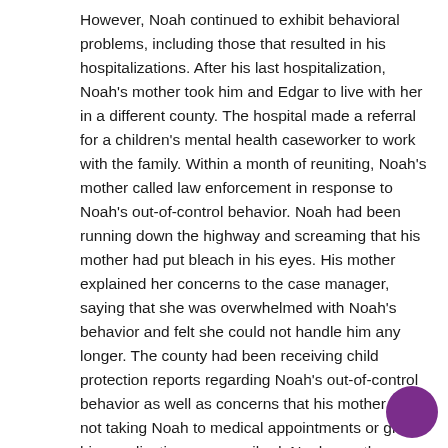However, Noah continued to exhibit behavioral problems, including those that resulted in his hospitalizations. After his last hospitalization, Noah's mother took him and Edgar to live with her in a different county. The hospital made a referral for a children's mental health caseworker to work with the family. Within a month of reuniting, Noah's mother called law enforcement in response to Noah's out-of-control behavior. Noah had been running down the highway and screaming that his mother had put bleach in his eyes. His mother explained her concerns to the case manager, saying that she was overwhelmed with Noah's behavior and felt she could not handle him any longer. The county had been receiving child protection reports regarding Noah's out-of-control behavior as well as concerns that his mother was not taking Noah to medical appointments or giving him medication as prescribed. Noah was then placed in his current foster home where he has been for the last 9 months. Child Protective Services developed a reunification plan upon his placement in the foster home. Services provided for Noah include individual and family counseling, medication management, and weekly supervised visitation with his mother. Noah's most current diagnosis is mood disorder, not otherwise specified (NOS); attention deficit hyperactivity disorder